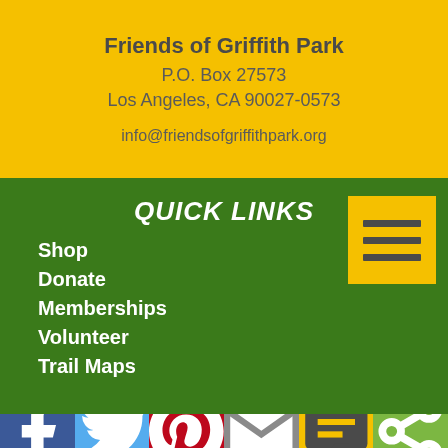Friends of Griffith Park
P.O. Box 27573
Los Angeles, CA 90027-0573
info@friendsofgriffithpark.org
QUICK LINKS
Shop
Donate
Memberships
Volunteer
Trail Maps
[Figure (infographic): Social media bar with Facebook, Twitter, Pinterest, Email, SMS, and Share icons]